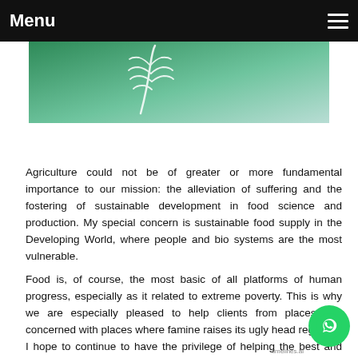Menu
[Figure (photo): Partial photo of a green background with what appears to be white plant or biological material, possibly agricultural/food science related]
Agriculture could not be of greater or more fundamental importance to our mission: the alleviation of suffering and the fostering of sustainable development in food science and production. My special concern is sustainable food supply in the Developing World, where people and bio systems are the most vulnerable.
Food is, of course, the most basic of all platforms of human progress, especially as it related to extreme poverty. This is why we are especially pleased to help clients from places and concerned with places where famine raises its ugly head regularly. I hope to continue to have the privilege of helping the best and brightest